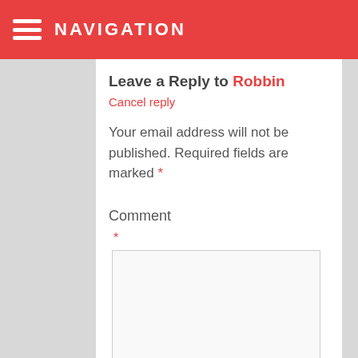NAVIGATION
Leave a Reply to Robbin Cancel reply
Your email address will not be published. Required fields are marked *
Comment
*